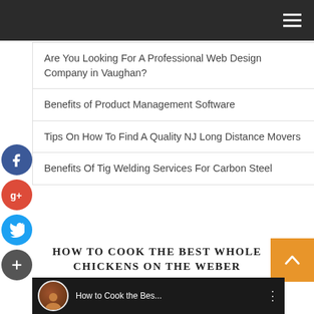Are You Looking For A Professional Web Design Company in Vaughan?
Benefits of Product Management Software
Tips On How To Find A Quality NJ Long Distance Movers
Benefits Of Tig Welding Services For Carbon Steel
HOW TO COOK THE BEST WHOLE CHICKENS ON THE WEBER CHARCOAL GRILL
[Figure (screenshot): YouTube video thumbnail showing 'How to Cook the Bes...' with a man in a hat and food on a grill]